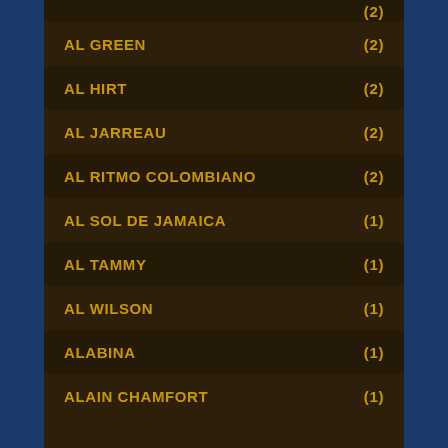AL GREEN (2)
AL HIRT (2)
AL JARREAU (2)
AL RITMO COLOMBIANO (2)
AL SOL DE JAMAICA (1)
AL TAMMY (1)
AL WILSON (1)
ALABINA (1)
ALAIN CHAMFORT (1)